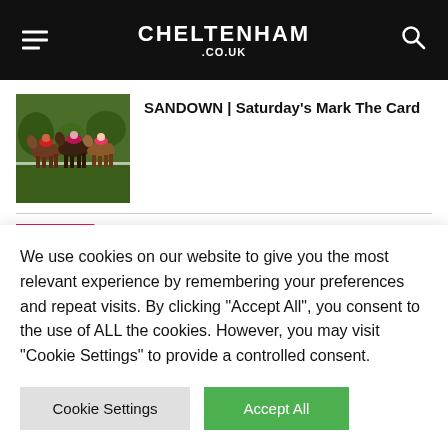CHELTENHAM .CO.UK
[Figure (photo): Horse racing photo showing horses and jockeys jumping a hurdle at a racecourse with green background]
SANDOWN | Saturday's Mark The Card
BETTING
We use cookies on our website to give you the most relevant experience by remembering your preferences and repeat visits. By clicking "Accept All", you consent to the use of ALL the cookies. However, you may visit "Cookie Settings" to provide a controlled consent.